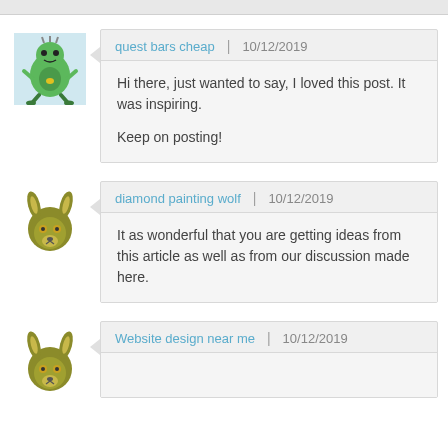quest bars cheap | 10/12/2019
Hi there, just wanted to say, I loved this post. It was inspiring.
Keep on posting!
diamond painting wolf | 10/12/2019
It as wonderful that you are getting ideas from this article as well as from our discussion made here.
Website design near me | 10/12/2019